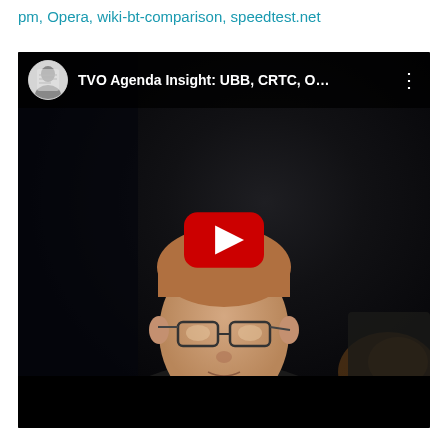pm, Opera, wiki-bt-comparison, speedtest.net
[Figure (screenshot): YouTube video thumbnail showing a man in a dark blazer and glasses sitting in front of a dark background. The video is titled 'TVO Agenda Insight: UBB, CRTC, O...' with a YouTube play button overlay in the center. The top bar shows the channel avatar and title with a three-dot menu. A bottom black bar is visible.]